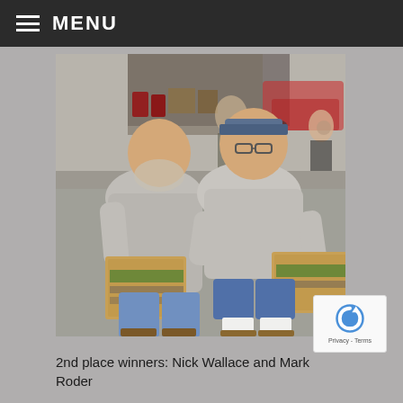MENU
[Figure (photo): Two men standing outdoors holding cardboard boxes, both wearing gray polo shirts. The man on the left wears jeans and has a beard, the man on the right wears blue jean shorts and glasses. Background shows a parking area with vehicles.]
2nd place winners: Nick Wallace and Mark Roder